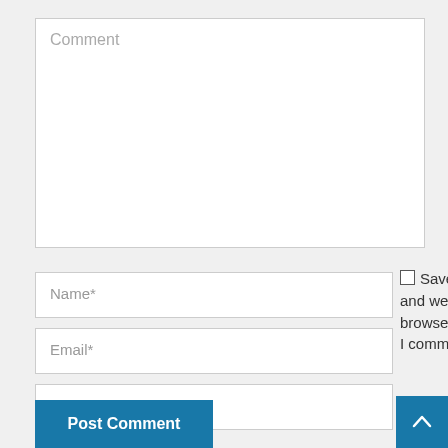Comment
Name*
Email*
Website
Save my name, email, and website in this browser for the next time I comment
Post Comment